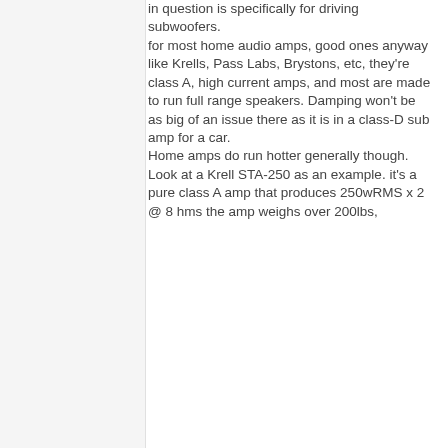in question is specifically for driving subwoofers.
for most home audio amps, good ones anyway like Krells, Pass Labs, Brystons, etc, they're class A, high current amps, and most are made to run full range speakers. Damping won't be as big of an issue there as it is in a class-D sub amp for a car.
Home amps do run hotter generally though.
Look at a Krell STA-250 as an example. it's a pure class A amp that produces 250wRMS x 2 @ 8 hms the amp weighs over 200lbs,